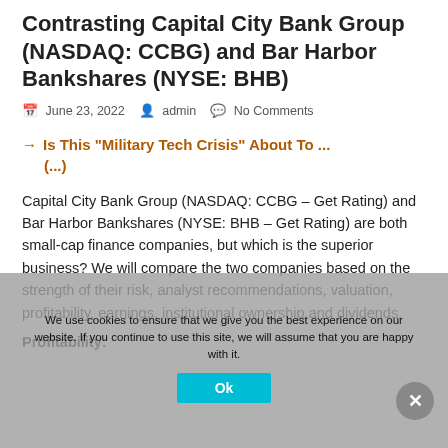Contrasting Capital City Bank Group (NASDAQ: CCBG) and Bar Harbor Bankshares (NYSE: BHB)
June 23, 2022   admin   No Comments
→ Is This "Military Tech Crisis" About To ...
Capital City Bank Group (NASDAQ: CCBG – Get Rating) and Bar Harbor Bankshares (NYSE: BHB – Get Rating) are both small-cap finance companies, but which is the superior business? We will compare the two companies based on the strength of their risk, analyst recommendations, valuation, profitability, earnings, institutional ownership and dividends.
Profitability:
We use cookies to ensure that we give you the best experience on our website. If you continue to use this site, we will assume that you are happy with it.